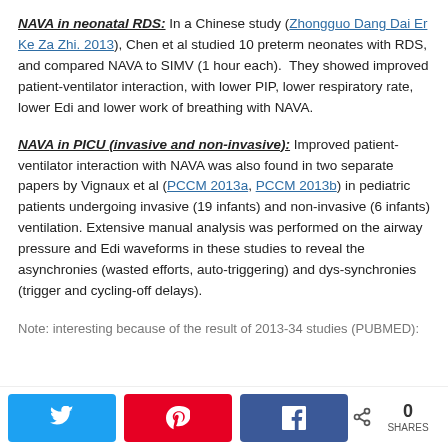NAVA in neonatal RDS: In a Chinese study (Zhongguo Dang Dai Er Ke Za Zhi. 2013), Chen et al studied 10 preterm neonates with RDS, and compared NAVA to SIMV (1 hour each).  They showed improved patient-ventilator interaction, with lower PIP, lower respiratory rate, lower Edi and lower work of breathing with NAVA.
NAVA in PICU (invasive and non-invasive): Improved patient-ventilator interaction with NAVA was also found in two separate papers by Vignaux et al (PCCM 2013a, PCCM 2013b) in pediatric patients undergoing invasive (19 infants) and non-invasive (6 infants) ventilation. Extensive manual analysis was performed on the airway pressure and Edi waveforms in these studies to reveal the asynchronies (wasted efforts, auto-triggering) and dys-synchronies (trigger and cycling-off delays).
Note: interesting because of the result of 2013-34 studies (PUBMED):
Twitter share, Pinterest share, Facebook share — 0 SHARES